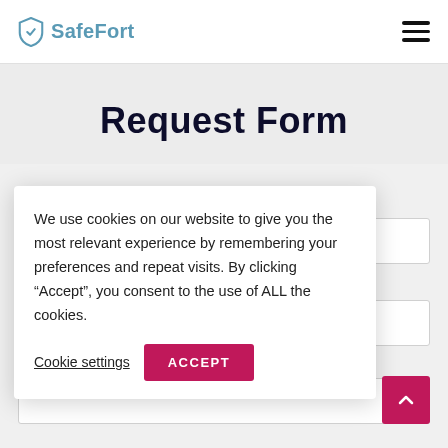SafeFort
Request Form
NAME *
We use cookies on our website to give you the most relevant experience by remembering your preferences and repeat visits. By clicking “Accept”, you consent to the use of ALL the cookies.
Cookie settings   ACCEPT